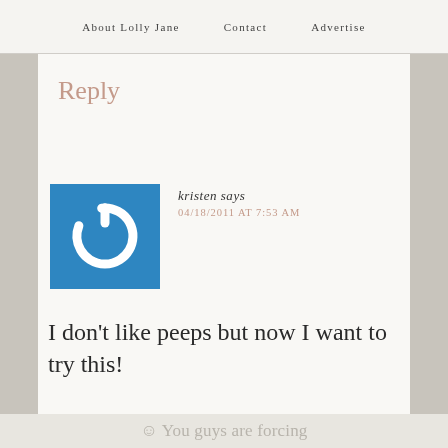About Lolly Jane   Contact   Advertise
Reply
[Figure (logo): Blue square icon with white power button symbol]
kristen says
04/18/2011 AT 7:53 AM
I don't like peeps but now I want to try this!
☺ You guys are forcing